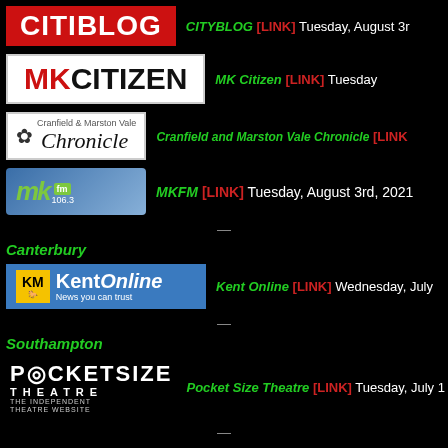[Figure (logo): Citiblog red banner logo]
CITYBLOG [LINK] Tuesday, August 3rd
[Figure (logo): MK Citizen logo in red and black on white]
MK Citizen [LINK] Tuesday,
[Figure (logo): Cranfield and Marston Vale Chronicle logo with flower illustration]
Cranfield and Marston Vale Chronicle [LINK
[Figure (logo): MKFM 106.3 radio station logo]
MKFM [LINK] Tuesday, August 3rd, 2021
Canterbury
[Figure (logo): Kent Online KM logo]
Kent Online [LINK] Wednesday, July
Southampton
[Figure (logo): Pocket Size Theatre logo]
Pocket Size Theatre [LINK] Tuesday, July